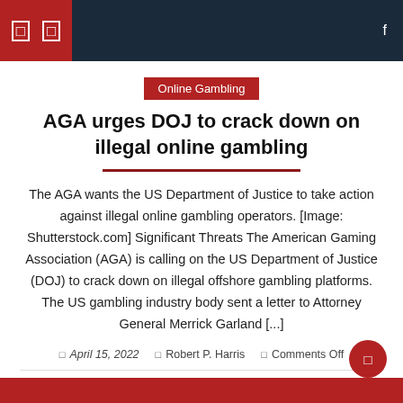Online Gambling news website navigation bar
Online Gambling
AGA urges DOJ to crack down on illegal online gambling
The AGA wants the US Department of Justice to take action against illegal online gambling operators. [Image: Shutterstock.com] Significant Threats The American Gaming Association (AGA) is calling on the US Department of Justice (DOJ) to crack down on illegal offshore gambling platforms. The US gambling industry body sent a letter to Attorney General Merrick Garland [...]
April 15, 2022  Robert P. Harris  Comments Off